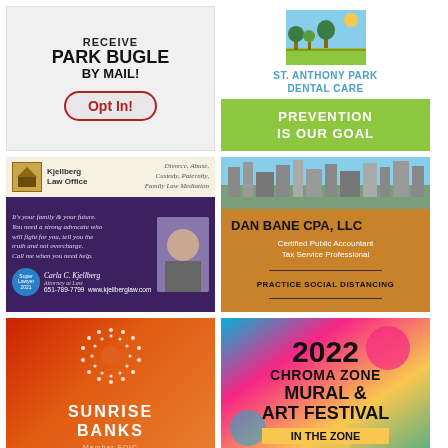[Figure (illustration): Park Bugle by mail opt-in advertisement. Gray background with bold text 'RECEIVE PARK BUGLE BY MAIL!' and a red-bordered 'Opt In!' button.]
[Figure (illustration): St. Anthony Park Dental Care ad. Logo of trees/landscape at top, blue text name, then green box with white text 'PREVENTION IS OUR GOAL'.]
[Figure (illustration): Kjellberg Law Office ad. Dark purple background with header showing law office logo and practice areas: Divorce, Abuse, Custody, Paternity, Family Law Mediation. Photo of attorney Carla C. Kjellberg, tagline text, contact info 651-789-7799 www.kjellberglaw.com.]
[Figure (illustration): Dan Bane CPA, LLC ad. Orange/amber background with city skyline photo at top. Text: Certified Public Accountant, Tax Service Professional. PRACTICE SOCIAL DISTANCING.]
[Figure (logo): Sunrise Banks advertisement. Red-to-orange gradient background with white circular dot pattern logo, white text SUNRISE BANKS, Member FDIC.]
[Figure (illustration): 2022 Chroma Zone Mural & Art Festival In The Zone. Colorful background (teal, pink, yellow, green). Bold black text on colorful background.]